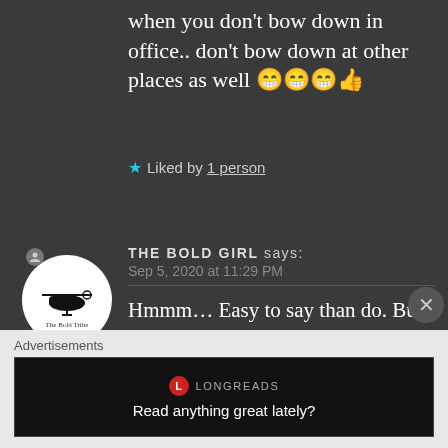when you don't bow down in office.. don't bow down at other places as well 😁😁😁👍
★ Liked by 1 person
THE BOLD GIRL says: Sep 5, 2020 at 11:29 PM
Hmmm… Easy to say than do. But I understand what you mean and thanks a ton for giving me the push.😊😊
Advertisements
[Figure (screenshot): Longreads advertisement: red circle logo with L, text 'LONGREADS', tagline 'Read anything great lately?']